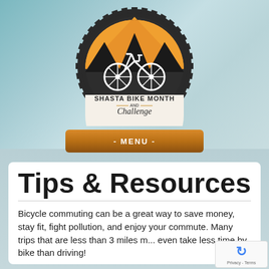[Figure (logo): Shasta Bike Month and Challenge circular logo with gear border, bicycle silhouette, mountain, and orange/dark color scheme]
- MENU -
Tips & Resources
Bicycle commuting can be a great way to save money, stay fit, fight pollution, and enjoy your commute. Many trips that are less than 3 miles may even take less time by bike than driving!